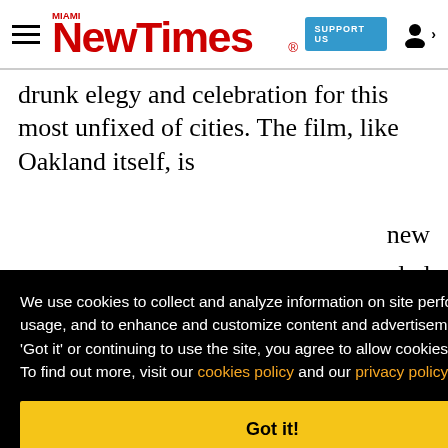Miami New Times — SUPPORT US
drunk elegy and celebration for this most unfixed of cities. The film, like Oakland itself, is [new] [vealed] [d] [give] [ruth.] [f two] ['s]
We use cookies to collect and analyze information on site performance and usage, and to enhance and customize content and advertisements. By clicking 'Got it' or continuing to use the site, you agree to allow cookies to be placed. To find out more, visit our cookies policy and our privacy policy.
Got it!
writers and producers. Daveed Diggs and Rafael